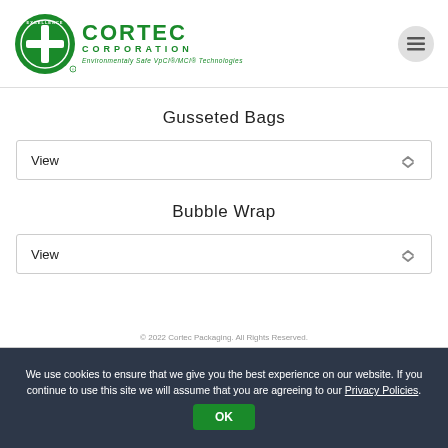[Figure (logo): Cortec Corporation logo with green circle containing a plus sign and the word EXCELLENCE, followed by CORTEC CORPORATION text and tagline 'Environmentally Safe VpCI/MCI Technologies' in green]
Gusseted Bags
View
Bubble Wrap
View
© 2022 Cortec Packaging. All Rights Reserved.
We use cookies to ensure that we give you the best experience on our website. If you continue to use this site we will assume that you are agreeing to our Privacy Policies.